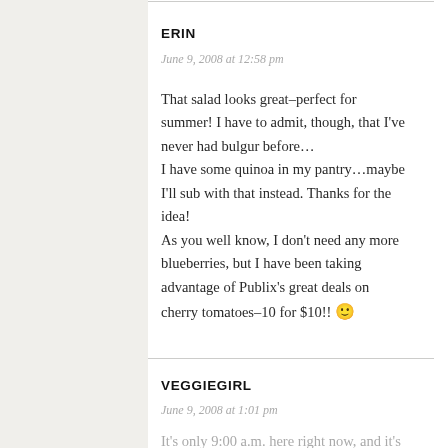ERIN
June 9, 2008 at 12:58 pm
That salad looks great–perfect for summer! I have to admit, though, that I've never had bulgur before…
I have some quinoa in my pantry…maybe I'll sub with that instead. Thanks for the idea!
As you well know, I don't need any more blueberries, but I have been taking advantage of Publix's great deals on cherry tomatoes–10 for $10!! 🙂
VEGGIEGIRL
June 9, 2008 at 1:01 pm
It's only 9:00 a.m. here right now, and it's